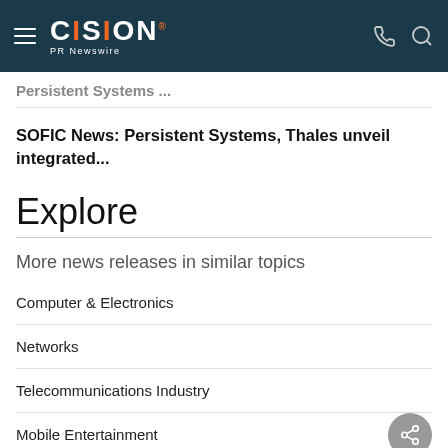CISION PR Newswire
Persistent Systems ...
SOFIC News: Persistent Systems, Thales unveil integrated...
Explore
More news releases in similar topics
Computer & Electronics
Networks
Telecommunications Industry
Mobile Entertainment